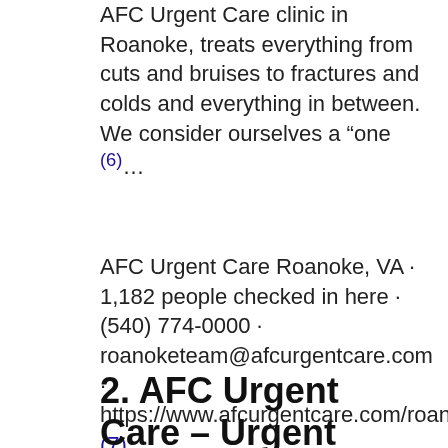AFC Urgent Care clinic in Roanoke, treats everything from cuts and bruises to fractures and colds and everything in between. We consider ourselves a “one (6)...
AFC Urgent Care Roanoke, VA · 1,182 people checked in here · (540) 774-0000 · roanoketeam@afcurgentcare.com · https://www.afcurgentcare.com/roanoke/. (7)...
2. AFC Urgent Care – Urgent Care in Roanoke, VA 24015 – DOT